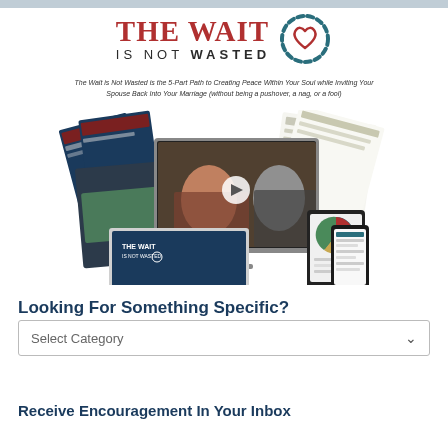[Figure (logo): The Wait Is Not Wasted logo with heart icon in dashed circular border and dark teal dashes]
The Wait is Not Wasted is the 5-Part Path to Creating Peace Within Your Soul while Inviting Your Spouse Back Into Your Marriage (without being a pushover, a nag, or a fool)
[Figure (photo): Product image collage showing laptop, desktop monitor with video of couple, tablet and phone, along with course materials/worksheets fanned out around the devices]
Looking For Something Specific?
Select Category
Receive Encouragement In Your Inbox